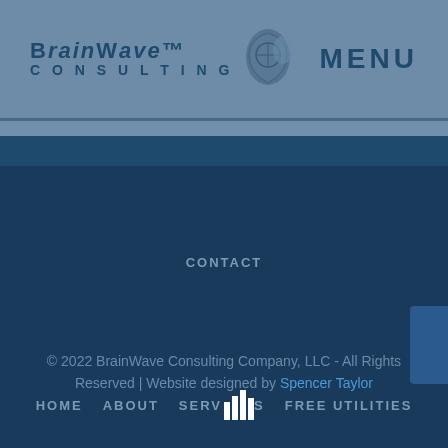[Figure (logo): BrainWave Consulting logo with shield icon]
MENU
HOME
ABOUT
SERVICES
FREE UTILITIES
CONTACT
© 2022 BrainWave Consulting Company, LLC - All Rights Reserved | Website designed by Spencer Taylor